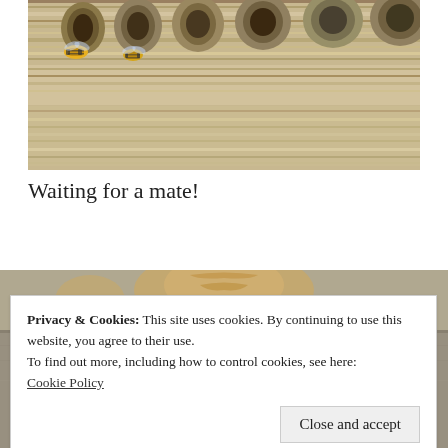[Figure (photo): Close-up photo of a bee hotel or insect house showing bees near holes in wooden tubes/bamboo and natural wood grain surface]
Waiting for a mate!
[Figure (photo): Partial photo of a cat partially visible, overlaid with a cookie consent banner]
Privacy & Cookies: This site uses cookies. By continuing to use this website, you agree to their use.
To find out more, including how to control cookies, see here:
Cookie Policy
Close and accept